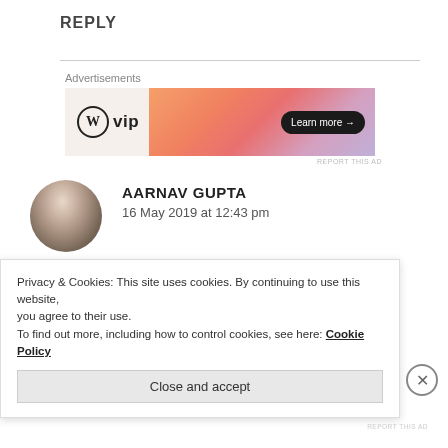REPLY
[Figure (screenshot): WordPress VIP advertisement banner with logo on left, orange/pink gradient background on right, and 'Learn more →' button]
AARNAV GUPTA
16 May 2019 at 12:43 pm
Probably real. Can't find a point that you asked that question if it is fiction because with too deep you take
Privacy & Cookies: This site uses cookies. By continuing to use this website, you agree to their use.
To find out more, including how to control cookies, see here: Cookie Policy
Close and accept